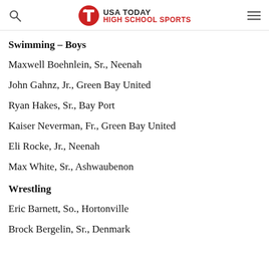USA TODAY HIGH SCHOOL SPORTS
Swimming – Boys
Maxwell Boehnlein, Sr., Neenah
John Gahnz, Jr., Green Bay United
Ryan Hakes, Sr., Bay Port
Kaiser Neverman, Fr., Green Bay United
Eli Rocke, Jr., Neenah
Max White, Sr., Ashwaubenon
Wrestling
Eric Barnett, So., Hortonville
Brock Bergelin, Sr., Denmark